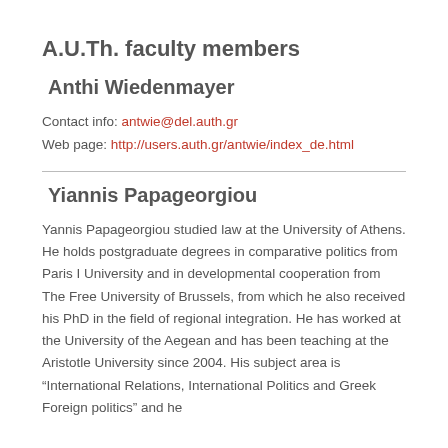A.U.Th. faculty members
Anthi Wiedenmayer
Contact info: antwie@del.auth.gr
Web page: http://users.auth.gr/antwie/index_de.html
Yiannis Papageorgiou
Yannis Papageorgiou studied law at the University of Athens. He holds postgraduate degrees in comparative politics from Paris I University and in developmental cooperation from The Free University of Brussels, from which he also received his PhD in the field of regional integration. He has worked at the University of the Aegean and has been teaching at the Aristotle University since 2004. His subject area is “International Relations, International Politics and Greek Foreign politics” and he